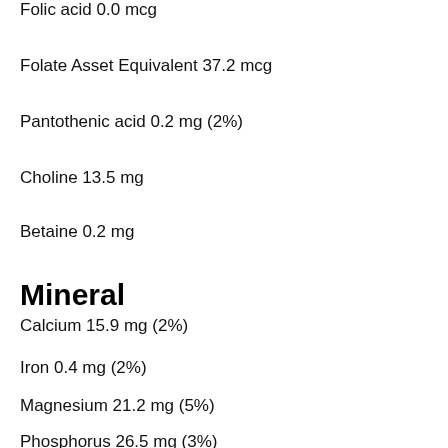Folic acid 0.0 mcg
Folate Asset Equivalent 37.2 mcg
Pantothenic acid 0.2 mg (2%)
Choline 13.5 mg
Betaine 0.2 mg
Mineral
Calcium 15.9 mg (2%)
Iron 0.4 mg (2%)
Magnesium 21.2 mg (5%)
Phosphorus 26.5 mg (3%)